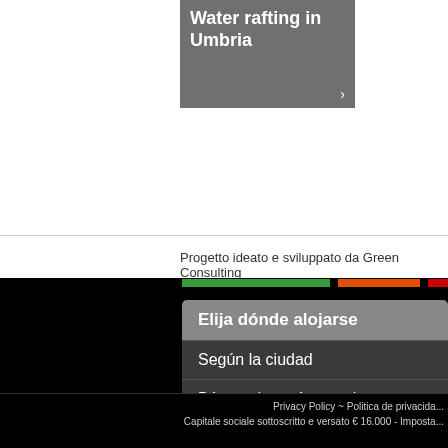[Figure (screenshot): Gray card with white text reading 'Water rafting in Umbria' and a right arrow]
Progetto ideato e sviluppato da Green Consulting
[Figure (screenshot): Navigation menu with options: 'Elija dónde alojarse', 'Según la ciudad', 'Búsquedas más populares' on dark background]
Privacy Policy ~ Politica de privacida... Capitale sociale sottoscritto e versato € 16.000 - Imposta...